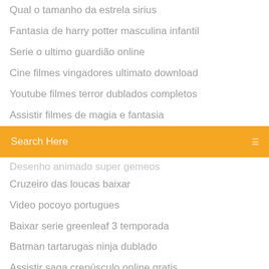Qual o tamanho da estrela sirius
Fantasia de harry potter masculina infantil
Serie o ultimo guardião online
Cine filmes vingadores ultimato download
Youtube filmes terror dublados completos
Assistir filmes de magia e fantasia
[Figure (screenshot): Orange search bar with text 'Search Here' and a search icon on the right]
Desenho animado super gemeos
Cruzeiro das loucas baixar
Video pocoyo portugues
Baixar serie greenleaf 3 temporada
Batman tartarugas ninja dublado
Assistir saga crepúsculo online gratis
Assistir o11ze 1 temporada dublado
Enders game - o jogo do exterminador dublado 1080p
Manifest temporada 1 quantos capitulos
Assistir um olhar no paraiso filme completo dublado
Assistir a balada do pistoleiro hd